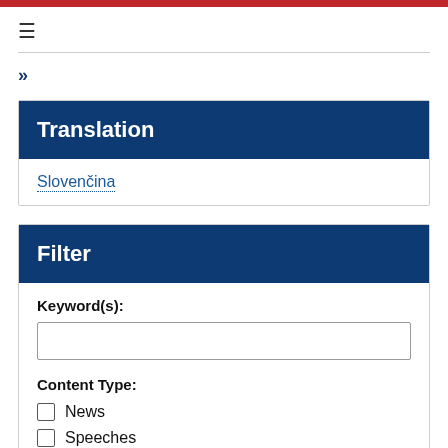»
Translation
Slovenčina
Filter
Keyword(s):
Content Type:
News
Speeches